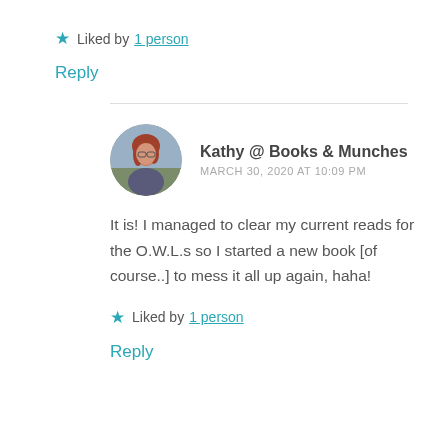★ Liked by 1 person
Reply
Kathy @ Books & Munches
MARCH 30, 2020 AT 10:09 PM
[Figure (photo): Circular avatar photo of a woman with red hair and glasses]
It is! I managed to clear my current reads for the O.W.L.s so I started a new book [of course..] to mess it all up again, haha!
★ Liked by 1 person
Reply